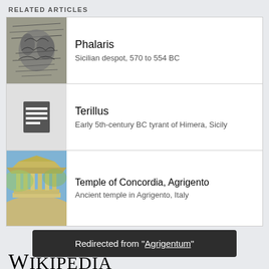RELATED ARTICLES
Phalaris — Sicilian despot, 570 to 554 BC
Terillus — Early 5th-century BC tyrant of Himera, Sicily
Temple of Concordia, Agrigento — Ancient temple in Agrigento, Italy
[Figure (logo): Wikipedia logo text in serif font]
Content is available under CC BY-SA 3.0 unless otherwise noted.
Terms
Redirected from "Agrigentum"